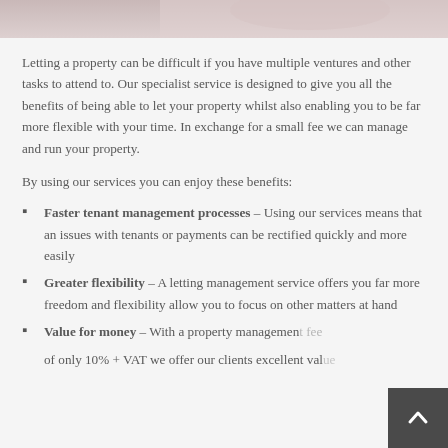[Figure (photo): Partial view of a light pink/rose colored fabric or textile, cropped at top of page]
Letting a property can be difficult if you have multiple ventures and other tasks to attend to. Our specialist service is designed to give you all the benefits of being able to let your property whilst also enabling you to be far more flexible with your time. In exchange for a small fee we can manage and run your property.
By using our services you can enjoy these benefits:
Faster tenant management processes – Using our services means that an issues with tenants or payments can be rectified quickly and more easily
Greater flexibility – A letting management service offers you far more freedom and flexibility allow you to focus on other matters at hand
Value for money – With a property management fee of only 10% + VAT we offer our clients excellent value for money by ensuring they have an efficient let